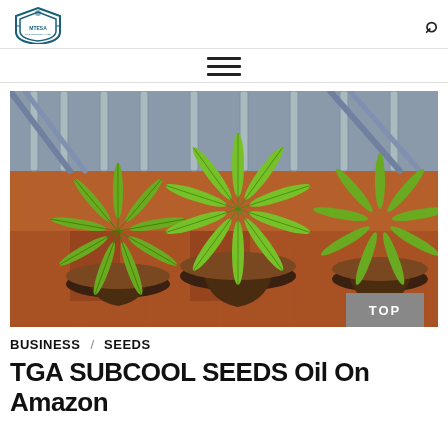MTESA logo and search icon
[Figure (illustration): Hamburger navigation menu icon (three horizontal lines)]
[Figure (photo): Three cannabis plants in black pots on a tiled surface with metal railings in the background. Plants are viewed from above showing star-shaped green leaves.]
BUSINESS  SEEDS
TGA SUBCOOL SEEDS Oil On Amazon